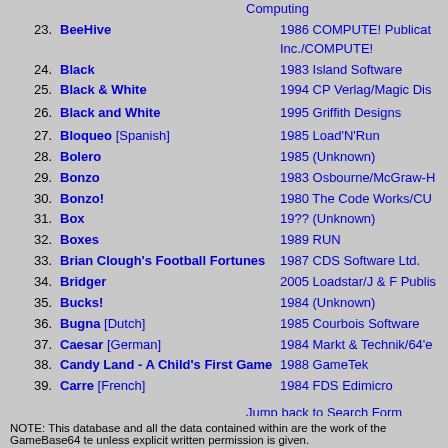23. BeeHive — 1986 COMPUTE! Publications Inc./COMPUTE!
24. Black — 1983 Island Software
25. Black & White — 1994 CP Verlag/Magic Dis
26. Black and White — 1995 Griffith Designs
27. Bloqueo [Spanish] — 1985 Load'N'Run
28. Bolero — 1985 (Unknown)
29. Bonzo — 1983 Osbourne/McGraw-H
30. Bonzo! — 1980 The Code Works/CU
31. Box — 19?? (Unknown)
32. Boxes — 1989 RUN
33. Brian Clough's Football Fortunes — 1987 CDS Software Ltd.
34. Bridger — 2005 Loadstar/J & F Publis
35. Bucks! — 1984 (Unknown)
36. Bugna [Dutch] — 1985 Courbois Software
37. Caesar [German] — 1984 Markt & Technik/64'e
38. Candy Land - A Child's First Game — 1988 GameTek
39. Carre [French] — 1984 FDS Edimicro
Jump back to Search Form
Goto page 1, 2, 3, 4, 5, 6, 7
NOTE: This database and all the data contained within are the work of the GameBase64 te unless explicit written permission is given.